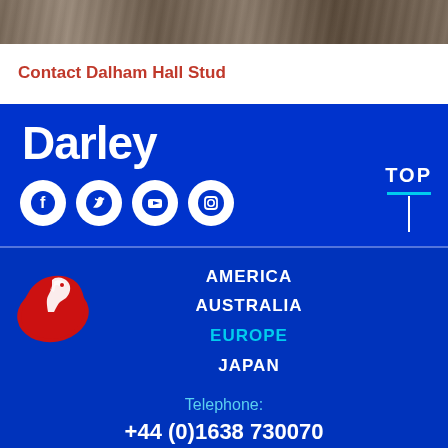[Figure (photo): Decorative photo strip at top of page showing a dark textured/horse-related image]
Contact Dalham Hall Stud
[Figure (logo): Darley logo in white bold text on blue background with social media icons (Facebook, Twitter, YouTube, Instagram) and TOP navigation button]
AMERICA
AUSTRALIA
EUROPE
JAPAN
Telephone:
+44 (0)1638 730070
Telephone:
+353 (0)45 527600